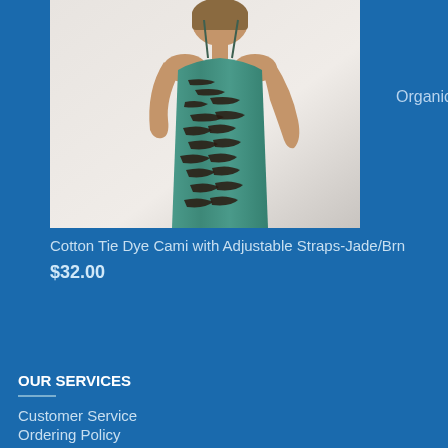[Figure (photo): Woman modeling a teal and brown tie dye cami dress with adjustable straps, photographed against a light background]
Organic
Cotton Tie Dye Cami with Adjustable Straps-Jade/Brn
$32.00
OUR SERVICES
Customer Service
Ordering Policy